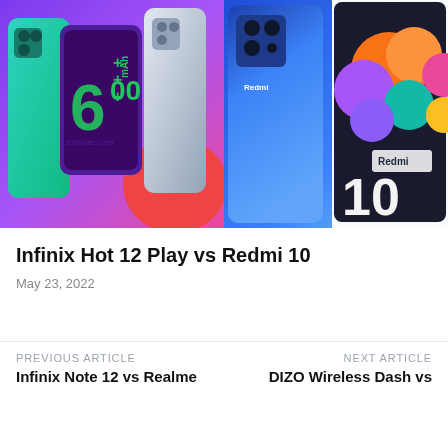[Figure (photo): Comparison image showing Infinix Hot 12 Play (left) and Redmi 10 (right) smartphones side by side. Left: purple/pink background with green 6000 mAh battery graphic on phone screen, teal and silver phone models. Right: blue background showing blue Redmi phone with Redmi 10 branding and colorful fruit display on another phone.]
Infinix Hot 12 Play vs Redmi 10
May 23, 2022
PREVIOUS ARTICLE
Infinix Note 12 vs Realme
NEXT ARTICLE
DIZO Wireless Dash vs